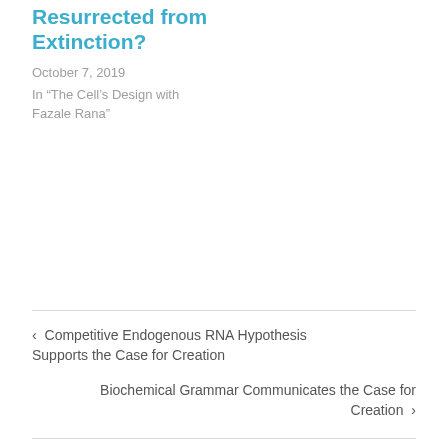Resurrected from Extinction?
October 7, 2019
In “The Cell’s Design with Fazale Rana”
‹ Competitive Endogenous RNA Hypothesis Supports the Case for Creation
Biochemical Grammar Communicates the Case for Creation ›